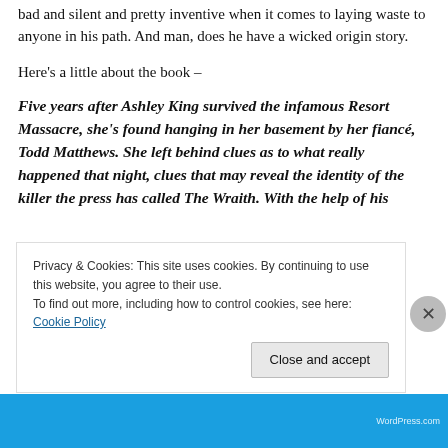bad and silent and pretty inventive when it comes to laying waste to anyone in his path. And man, does he have a wicked origin story.
Here's a little about the book –
Five years after Ashley King survived the infamous Resort Massacre, she's found hanging in her basement by her fiancé, Todd Matthews. She left behind clues as to what really happened that night, clues that may reveal the identity of the killer the press has called The Wraith. With the help of his
Privacy & Cookies: This site uses cookies. By continuing to use this website, you agree to their use.
To find out more, including how to control cookies, see here: Cookie Policy
Close and accept